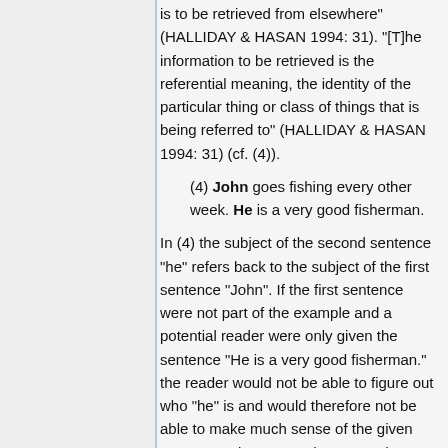is to be retrieved from elsewhere" (HALLIDAY & HASAN 1994: 31). "[T]he information to be retrieved is the referential meaning, the identity of the particular thing or class of things that is being referred to" (HALLIDAY & HASAN 1994: 31) (cf. (4)).
(4) John goes fishing every other week. He is a very good fisherman.
In (4) the subject of the second sentence “he” refers back to the subject of the first sentence “John”. If the first sentence were not part of the example and a potential reader were only given the sentence “He is a very good fisherman.” the reader would not be able to figure out who “he” is and would therefore not be able to make much sense of the given sentence. The personal pronoun “he” cannot be interpreted semantically